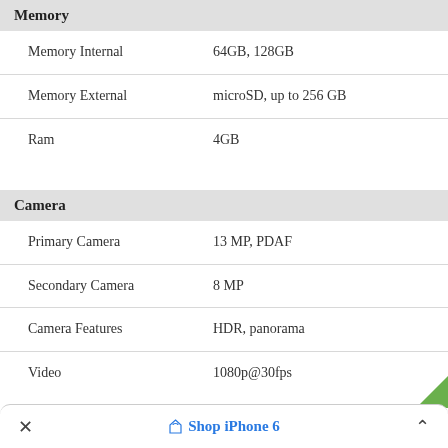Memory
| Memory Internal | 64GB, 128GB |
| Memory External | microSD, up to 256 GB |
| Ram | 4GB |
Camera
| Primary Camera | 13 MP, PDAF |
| Secondary Camera | 8 MP |
| Camera Features | HDR, panorama |
| Video | 1080p@30fps |
Sound
× Shop iPhone 6 ∧